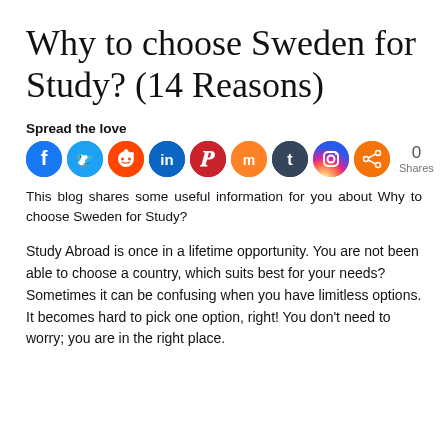Why to choose Sweden for Study? (14 Reasons)
Spread the love
[Figure (infographic): Social media share buttons: Facebook (blue), Twitter (light blue), Reddit (orange-red), LinkedIn (dark teal), Pinterest (dark red), Mix (orange), Tumblr (dark teal), Instagram (gradient), Share (orange), followed by '0 Shares' count]
This blog shares some useful information for you about Why to choose Sweden for Study?
Study Abroad is once in a lifetime opportunity.  You are not been able to choose a country, which suits best for your needs?  Sometimes it can be confusing when you have limitless options. It becomes hard to pick one option, right! You don't need to worry; you are in the right place.